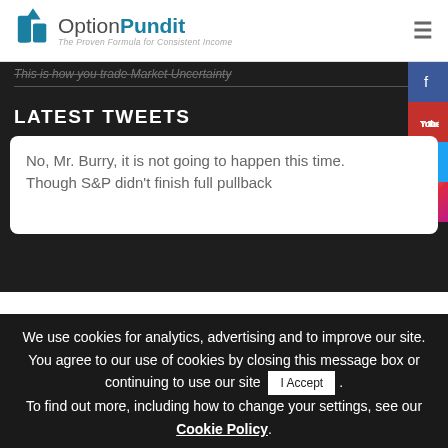OptionPundit – The Proven Formula for Consistent Income
This is how you trade Market Uncertainty
LATEST TWEETS
No, Mr. Burry, it is not going to happen this time. Though S&P didn't finish full pullback
We use cookies for analytics, advertising and to improve our site. You agree to our use of cookies by closing this message box or continuing to use our site   I Accept . To find out more, including how to change your settings, see our Cookie Policy.